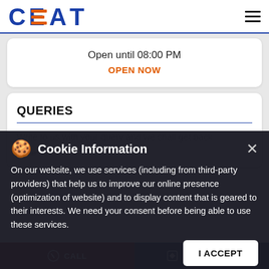[Figure (logo): CEAT logo in blue and orange]
Open until 08:00 PM
OPEN NOW
QUERIES
Write to us with your query and we shall get back
Name*
Cookie Information
On our website, we use services (including from third-party providers) that help us to improve our online presence (optimization of website) and to display content that is geared to their interests. We need your consent before being able to use these services.
I ACCEPT
CALL
DIRECTIONS